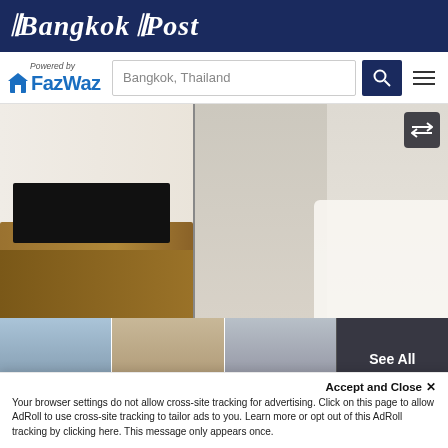Bangkok Post
[Figure (logo): FazWaz logo with 'Powered by' text and house icon]
Bangkok, Thailand
[Figure (photo): Interior photo of a modern apartment living room with TV unit, sofa, dining table, and kitchen visible in the background]
[Figure (photo): Four thumbnail photos of the apartment interior plus a 'See All' overlay button]
Accept and Close ✕
Your browser settings do not allow cross-site tracking for advertising. Click on this page to allow AdRoll to use cross-site tracking to tailor ads to you. Learn more or opt out of this AdRoll tracking by clicking here. This message only appears once.